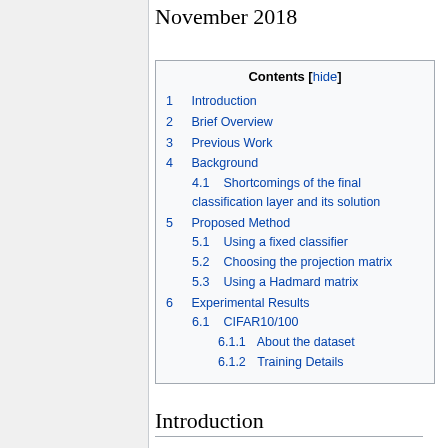November 2018
| Contents |
| --- |
| 1  Introduction |
| 2  Brief Overview |
| 3  Previous Work |
| 4  Background |
| 4.1  Shortcomings of the final classification layer and its solution |
| 5  Proposed Method |
| 5.1  Using a fixed classifier |
| 5.2  Choosing the projection matrix |
| 5.3  Using a Hadmard matrix |
| 6  Experimental Results |
| 6.1  CIFAR10/100 |
| 6.1.1  About the dataset |
| 6.1.2  Training Details |
Introduction